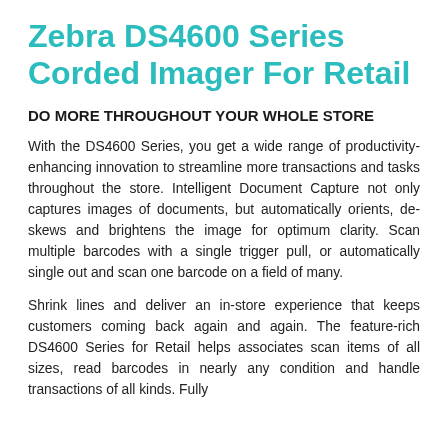Zebra DS4600 Series Corded Imager For Retail
DO MORE THROUGHOUT YOUR WHOLE STORE
With the DS4600 Series, you get a wide range of productivity-enhancing innovation to streamline more transactions and tasks throughout the store. Intelligent Document Capture not only captures images of documents, but automatically orients, de-skews and brightens the image for optimum clarity. Scan multiple barcodes with a single trigger pull, or automatically single out and scan one barcode on a field of many.
Shrink lines and deliver an in-store experience that keeps customers coming back again and again. The feature-rich DS4600 Series for Retail helps associates scan items of all sizes, read barcodes in nearly any condition and handle transactions of all kinds. Fully